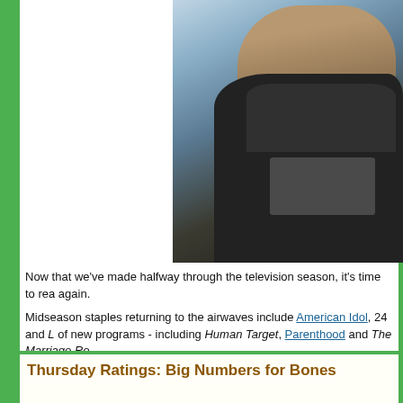[Figure (photo): Partial photo of a man wearing a dark jacket, visible from shoulders up, with a blurred outdoor background]
Now that we’ve made halfway through the television season, it’s time to rea again.
Midseason staples returning to the airwaves include American Idol, 24 and … of new programs - including Human Target, Parenthood and The Marriage Re…
Hopefully our detailed guide can assist you in the weeks to come. We hav… from the five major networks and included the days, times and premiere da… programs.
(NOTE: This schedule has been updated as of May 2. Don’t be surprised to… weeks to come.)
Click to continue reading 2009-10 Midseason Television Schedule
Tools: Permalink | Share on Twitter | Share on Facebook | Comments (0) | Email th…
Thursday Ratings: Big Numbers for Bones